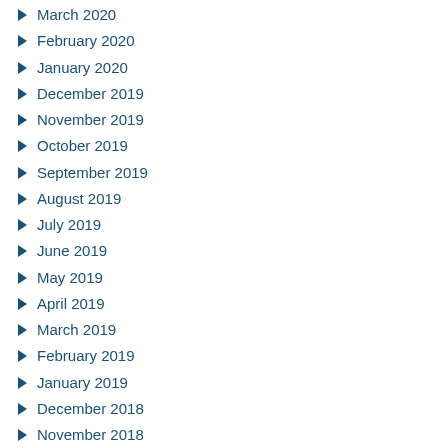March 2020
February 2020
January 2020
December 2019
November 2019
October 2019
September 2019
August 2019
July 2019
June 2019
May 2019
April 2019
March 2019
February 2019
January 2019
December 2018
November 2018
October 2018